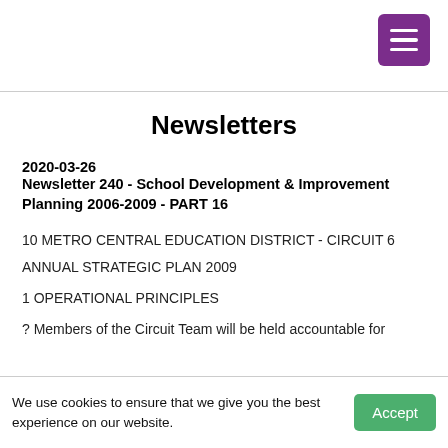Newsletters
2020-03-26
Newsletter 240 - School Development & Improvement Planning 2006-2009 - PART 16
10 METRO CENTRAL EDUCATION DISTRICT - CIRCUIT 6
ANNUAL STRATEGIC PLAN 2009
1 OPERATIONAL PRINCIPLES
? Members of the Circuit Team will be held accountable for
We use cookies to ensure that we give you the best experience on our website.